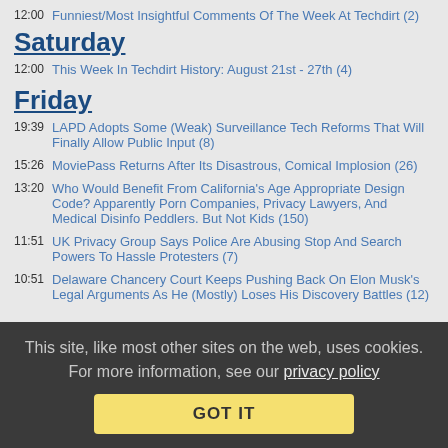12:00 Funniest/Most Insightful Comments Of The Week At Techdirt (2)
Saturday
12:00 This Week In Techdirt History: August 21st - 27th (4)
Friday
19:39 LAPD Adopts Some (Weak) Surveillance Tech Reforms That Will Finally Allow Public Input (8)
15:26 MoviePass Returns After Its Disastrous, Comical Implosion (26)
13:20 Who Would Benefit From California's Age Appropriate Design Code? Apparently Porn Companies, Privacy Lawyers, And Medical Disinfo Peddlers. But Not Kids (150)
11:51 UK Privacy Group Says Police Are Abusing Stop And Search Powers To Hassle Protesters (7)
10:51 Delaware Chancery Court Keeps Pushing Back On Elon Musk's Legal Arguments As He (Mostly) Loses His Discovery Battles (12)
This site, like most other sites on the web, uses cookies. For more information, see our privacy policy GOT IT